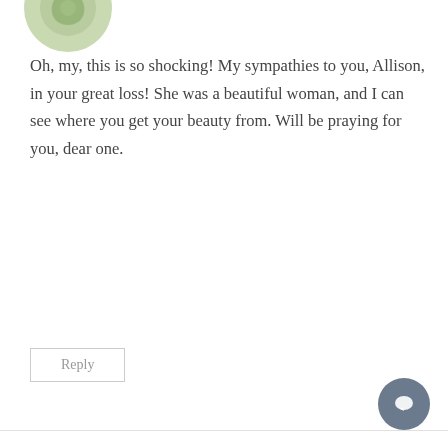[Figure (illustration): Circular avatar image with green leaf/floral design, partially cropped at top]
Oh, my, this is so shocking! My sympathies to you, Allison, in your great loss! She was a beautiful woman, and I can see where you get your beauty from. Will be praying for you, dear one.
Reply
[Figure (photo): Circular avatar photo of Valerie, a woman with brown hair]
Valerie says:
March 3, 2015 at 1:45 pm
Oh goodness Alison, I'm so, so very sorry. I want to say words, but I don't have words, and I don't know yo really. But go easy on yourself, feel whatever you nee